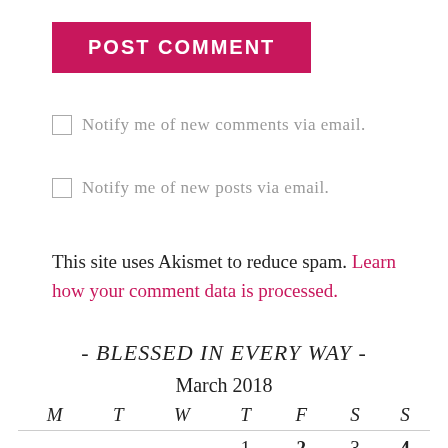POST COMMENT
Notify me of new comments via email.
Notify me of new posts via email.
This site uses Akismet to reduce spam. Learn how your comment data is processed.
- BLESSED IN EVERY WAY -
March 2018
| M | T | W | T | F | S | S |
| --- | --- | --- | --- | --- | --- | --- |
|  |  |  | 1 | 2 | 3 | 4 |